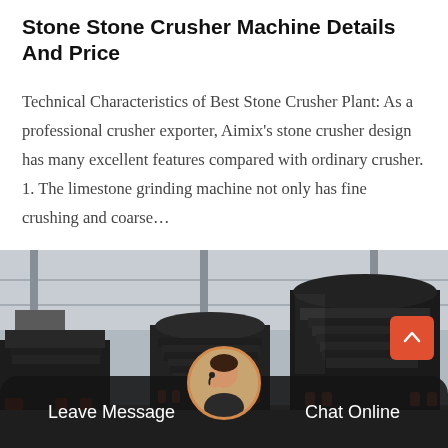Stone Stone Crusher Machine Details And Price
Technical Characteristics of Best Stone Crusher Plant: As a professional crusher exporter, Aimix’s stone crusher design has many excellent features compared with ordinary crusher. 1. The limestone grinding machine not only has fine crushing and coarse…
[Figure (photo): Industrial stone crusher machines in a large factory warehouse. Multiple large black crusher units of different sizes are visible, including cone crushers and jaw crushers, with a metallic warehouse structure in the background.]
Leave Message   Chat Online